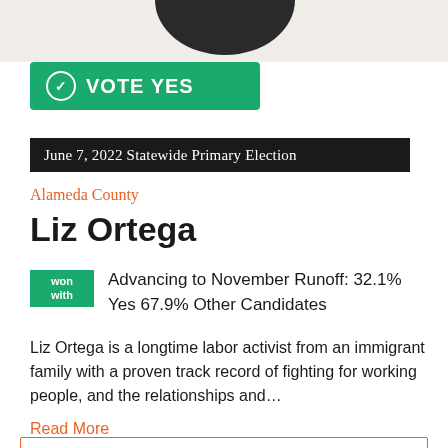[Figure (photo): Partial view of a person photo at top of page]
VOTE YES
June 7, 2022 Statewide Primary Election
Alameda County
Liz Ortega
Won with Advancing to November Runoff: 32.1% Yes 67.9% Other Candidates
Liz Ortega is a longtime labor activist from an immigrant family with a proven track record of fighting for working people, and the relationships and…
Read More